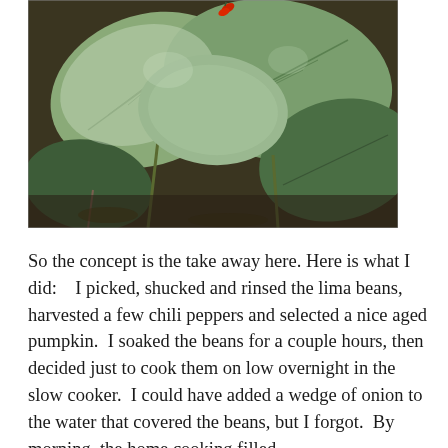[Figure (photo): Close-up photograph of large green leaves, possibly pumpkin or squash plant leaves, with a small red chili pepper visible at the top center. The leaves are broad with visible veins, and the scene includes stems and soil in the background.]
So the concept is the take away here. Here is what I did:   I picked, shucked and rinsed the lima beans, harvested a few chili peppers and selected a nice aged pumpkin.  I soaked the beans for a couple hours, then decided just to cook them on low overnight in the slow cooker.  I could have added a wedge of onion to the water that covered the beans, but I forgot.  By morning, the home cooking filled